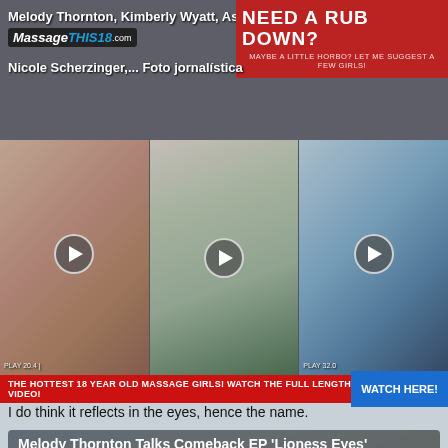[Figure (screenshot): Top advertisement banner with massage website logo and 'NEED A RUB DOWN?' ad text overlay]
Melody Thornton, Kimberly Wyatt, Ashley Roberts, Nicole Scherzinger,... Foto jornalistica
[Figure (screenshot): Three video thumbnail strip showing dark-haired women, with play buttons overlaid]
THE HOTTEST 18 YEAR OLD MASSAGE GIRLS! WATCH THE FULL LENGTH VIDEO! WATCH HERE!
I do think it reflects in the eyes, hence the name.
[Figure (screenshot): Video thumbnail showing Melody Thornton Talks Comeback EP 'Lioness Eyes' with play button]